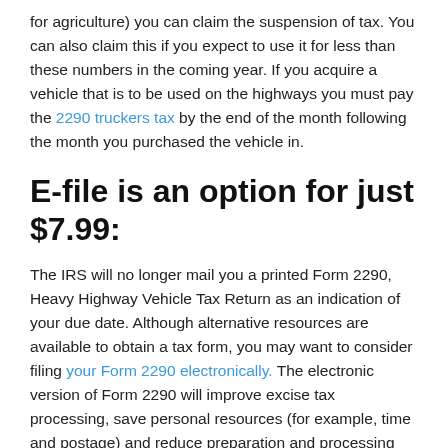for agriculture) you can claim the suspension of tax. You can also claim this if you expect to use it for less than these numbers in the coming year. If you acquire a vehicle that is to be used on the highways you must pay the 2290 truckers tax by the end of the month following the month you purchased the vehicle in.
E-file is an option for just $7.99:
The IRS will no longer mail you a printed Form 2290, Heavy Highway Vehicle Tax Return as an indication of your due date. Although alternative resources are available to obtain a tax form, you may want to consider filing your Form 2290 electronically. The electronic version of Form 2290 will improve excise tax processing, save personal resources (for example, time and postage) and reduce preparation and processing errors. Your Schedule 1 is available for printing immediately after your return is accepted by IRS. E-filing is the fast, secure, easy and accurate way to file returns and pay any tax due. You can e-